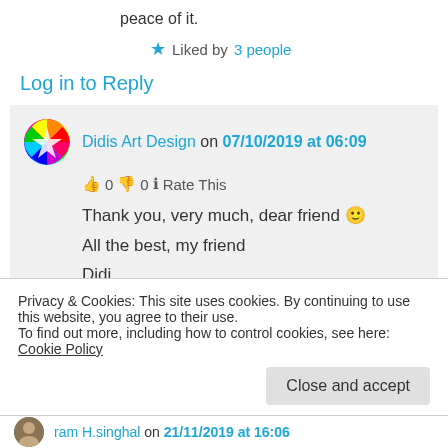peace of it.
★ Liked by 3 people
Log in to Reply
Didis Art Design on 07/10/2019 at 06:09
👍 0 👎 0 ℹ Rate This
Thank you, very much, dear friend 🙂
All the best, my friend
Didi
Privacy & Cookies: This site uses cookies. By continuing to use this website, you agree to their use.
To find out more, including how to control cookies, see here: Cookie Policy
Close and accept
ram H.singhal on 21/11/2019 at 16:06